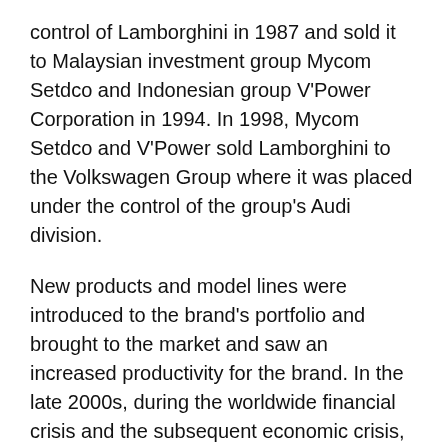control of Lamborghini in 1987 and sold it to Malaysian investment group Mycom Setdco and Indonesian group V'Power Corporation in 1994. In 1998, Mycom Setdco and V'Power sold Lamborghini to the Volkswagen Group where it was placed under the control of the group's Audi division.
New products and model lines were introduced to the brand's portfolio and brought to the market and saw an increased productivity for the brand. In the late 2000s, during the worldwide financial crisis and the subsequent economic crisis, Lamborghini's sales saw a drop of nearly 50 per cent.
Lamborghini currently produces the V12-powered Aventador and the V10-powered Huracán, along with the Urus SUV powered by a twin-turbo V8 engine. In addition, the company produces V12 engines for offshore powerboat racing. Lamborghini Trattori, founded in 1948 by Ferruccio